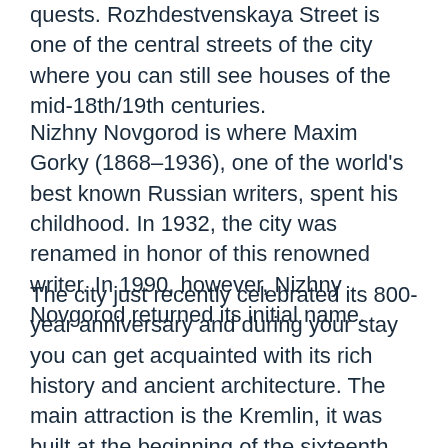quests. Rozhdestvenskaya Street is one of the central streets of the city where you can still see houses of the mid-18th/19th centuries.
Nizhny Novgorod is where Maxim Gorky (1868–1936), one of the world's best known Russian writers, spent his childhood. In 1932, the city was renamed in honor of this renowned writer. In 1990, however, Nizhny Novgorod returned its initial name.
The city just recently celebrated its 800-year anniversary and during your stay you can get acquainted with its rich history and ancient architecture. The main attraction is the Kremlin, it was built at the beginning of the sixteenth century as a military fortress, nowadays it is a unique open-air museum. The city is a large industrial, cultural and transport center of the Middle Volga and used to be known as "the pocket" of Russia thanks to the world-famous Fair.